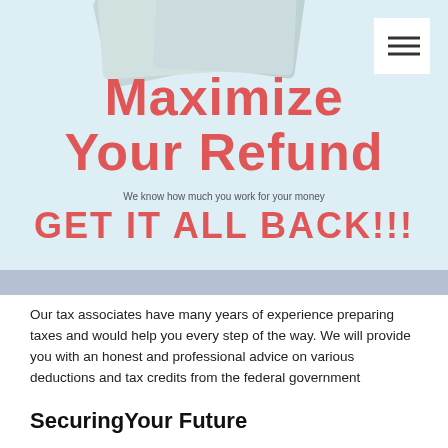[Figure (illustration): Advertisement image with light blue background showing blurred dollar bills at the top and bold red text reading 'Maximize Your Refund' with smaller text 'We know how much you work for your money' and 'GET IT ALL BACK!!!' below. A hamburger menu icon (three horizontal lines) appears in the top-right corner on a white square background.]
Our tax associates have many years of experience preparing taxes and would help you every step of the way. We will provide you with an honest and professional advice on various deductions and tax credits from the federal government
SecuringYour Future